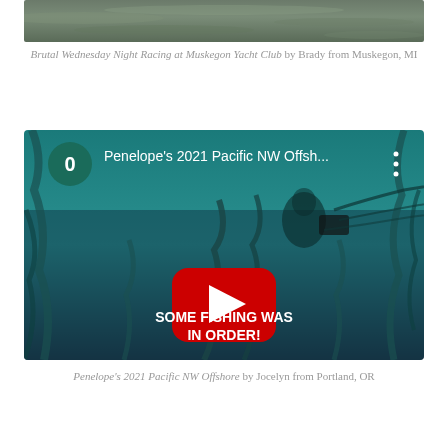[Figure (screenshot): Top portion of a water/ocean image, partially cropped at the top of the page]
Brutal Wednesday Night Racing at Muskegon Yacht Club by Brady from Muskegon, MI
[Figure (screenshot): YouTube video thumbnail for Penelope's 2021 Pacific NW Offshore video, showing underwater scene with kelp, a YouTube play button, and text 'SOME FISHING WAS IN ORDER!']
Penelope's 2021 Pacific NW Offshore by Jocelyn from Portland, OR